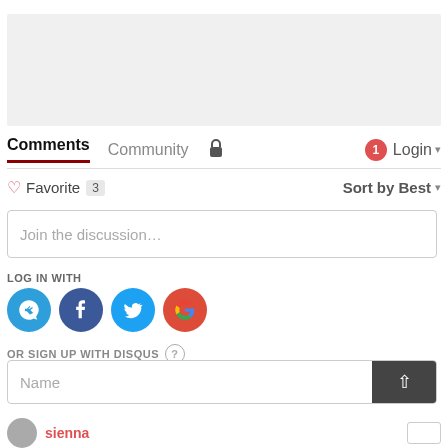[Figure (screenshot): Gray placeholder/ad box at top of page]
Comments  Community  Login
Favorite 3   Sort by Best
Join the discussion...
LOG IN WITH
[Figure (infographic): Social login icons: Disqus, Facebook, Twitter, Google]
OR SIGN UP WITH DISQUS ?
Name
sienna